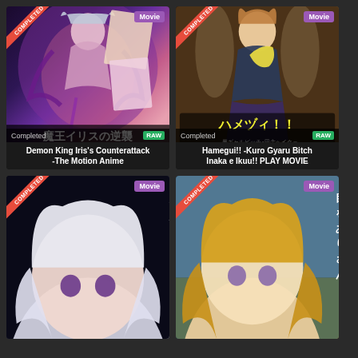[Figure (illustration): Anime thumbnail card with COMPLETED ribbon, Movie badge, RAW badge, Japanese title 魔王イリスの逆襲 (Demon King Iris's Counterattack - The Motion Anime), purple/fantasy theme with tentacle artwork]
Demon King Iris's Counterattack -The Motion Anime
[Figure (illustration): Anime thumbnail card with COMPLETED ribbon, Movie badge, RAW badge, Japanese title ハメヅィ!! (Hamegui!!), school uniform theme with anime girl character]
Hamegui!! -Kuro Gyaru Bitch Inaka e Ikuu!! PLAY MOVIE
[Figure (illustration): Anime thumbnail card with COMPLETED ribbon, Movie badge, partial view, dark theme with white-haired anime character, Japanese text 今夜もい]
[Figure (illustration): Anime thumbnail card with COMPLETED ribbon, Movie badge, partial view, outdoor theme with blonde anime character, Japanese text visible]